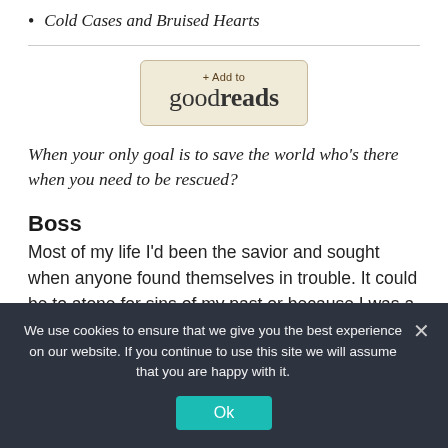Cold Cases and Bruised Hearts
[Figure (logo): + Add to goodreads button]
When your only goal is to save the world who's there when you need to be rescued?
Boss
Most of my life I'd been the savior and sought when anyone found themselves in trouble. It could be to atone for sins of my past or because I was a natural caregiver. Whatever it was I didn't
We use cookies to ensure that we give you the best experience on our website. If you continue to use this site we will assume that you are happy with it.